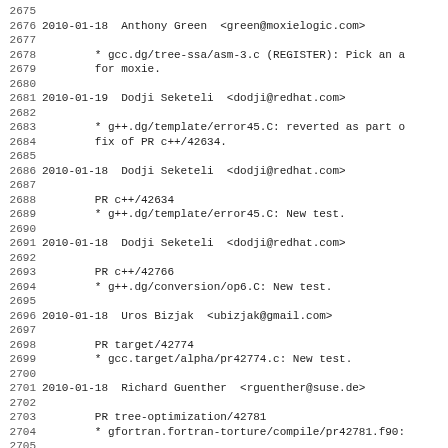2675
2676 2010-01-18  Anthony Green  <green@moxielogic.com>
2677
2678		* gcc.dg/tree-ssa/asm-3.c (REGISTER): Pick an a
2679		for moxie.
2680
2681 2010-01-19  Dodji Seketeli  <dodji@redhat.com>
2682
2683		* g++.dg/template/error45.C: reverted as part o
2684		fix of PR c++/42634.
2685
2686 2010-01-18  Dodji Seketeli  <dodji@redhat.com>
2687
2688		PR c++/42634
2689		* g++.dg/template/error45.C: New test.
2690
2691 2010-01-18  Dodji Seketeli  <dodji@redhat.com>
2692
2693		PR c++/42766
2694		* g++.dg/conversion/op6.C: New test.
2695
2696 2010-01-18  Uros Bizjak  <ubizjak@gmail.com>
2697
2698		PR target/42774
2699		* gcc.target/alpha/pr42774.c: New test.
2700
2701 2010-01-18  Richard Guenther  <rguenther@suse.de>
2702
2703		PR tree-optimization/42781
2704		* gfortran.fortran-torture/compile/pr42781.f90:
2705
2706 2010-01-17  Richard Guenther  <rguenther@suse.de>